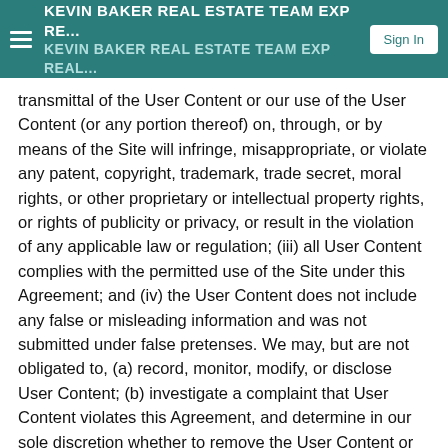KEVIN BAKER REAL ESTATE TEAM EXP RE... KEVIN BAKER REAL ESTATE TEAM EXP REAL... Sign In
transmittal of the User Content or our use of the User Content (or any portion thereof) on, through, or by means of the Site will infringe, misappropriate, or violate any patent, copyright, trademark, trade secret, moral rights, or other proprietary or intellectual property rights, or rights of publicity or privacy, or result in the violation of any applicable law or regulation; (iii) all User Content complies with the permitted use of the Site under this Agreement; and (iv) the User Content does not include any false or misleading information and was not submitted under false pretenses. We may, but are not obligated to, (a) record, monitor, modify, or disclose User Content; (b) investigate a complaint that User Content violates this Agreement, and determine in our sole discretion whether to remove the User Content or take other action; (c) remove User Content if we determine in our sole discretion that a violation of the Agreement has occurred or may occur in the future; and/or (d) terminate a UserÆs access to the Site (or